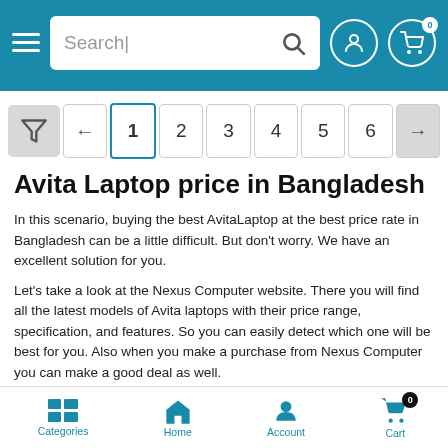Search | [user icon] [cart icon with 0]
[Figure (screenshot): Pagination bar with filter icon, left arrow, pages 1-6, right arrow. Page 1 is currently active/selected.]
Avita Laptop price in Bangladesh
In this scenario, buying the best AvitaLaptop at the best price rate in Bangladesh can be a little difficult. But don't worry. We have an excellent solution for you.
Let's take a look at the Nexus Computer website. There you will find all the latest models of Avita laptops with their price range, specification, and features. So you can easily detect which one will be best for you. Also when you make a purchase from Nexus Computer you can make a good deal as well.
Purchasing a totally brand new laptop can be challenging if you have limited knowledge about it. Every now and then there are the newest
Categories  Home  Account  Cart 0